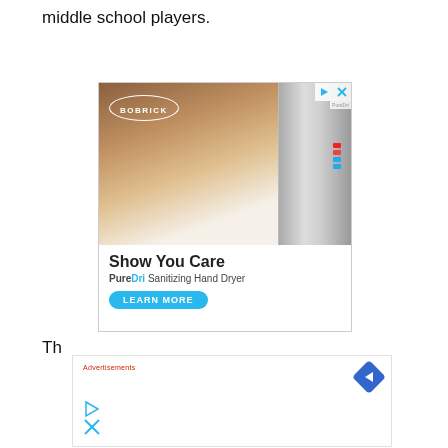middle school players.
[Figure (photo): Bobrick advertisement showing a masked waitress holding a tablet serving a customer, with a PureDri Sanitizing Hand Dryer on the right side. Ad text reads: 'Show You Care. PureDri Sanitizing Hand Dryer. LEARN MORE']
Th...
[Figure (other): Second advertisement banner with red 'Advertisements' label, a blue diamond arrow icon on the right, and play/close icons on the left]